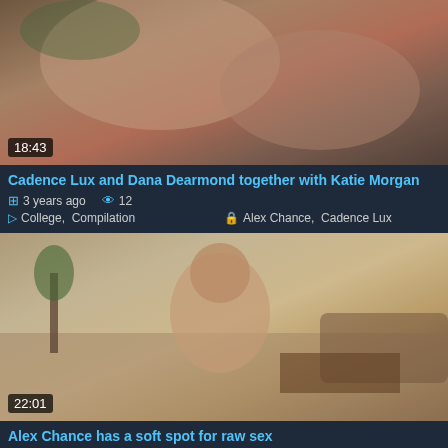[Figure (photo): Video thumbnail showing intimate scene, duration 18:43]
Cadence Lux and Dana Dearmond together with Katie Morgan
3 years ago  👁 12
College,  Compilation    Alex Chance,  Cadence Lux
[Figure (photo): Video thumbnail showing woman in living room, duration 22:01]
Alex Chance has a soft spot for raw sex